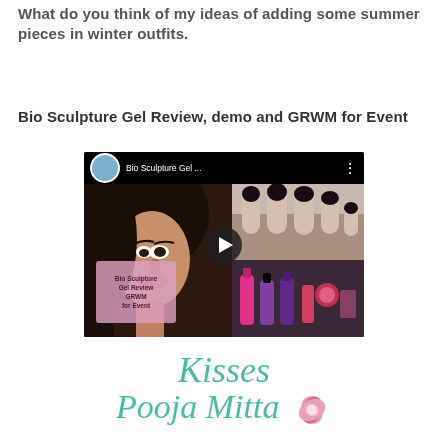What do you think of my ideas of adding some summer pieces in winter outfits.
Bio Sculpture Gel Review, demo and GRWM for Event
[Figure (screenshot): YouTube video thumbnail showing a woman's face on the left, gel nails on the upper right, nail polish bottles on lower right. Pink overlay text reads 'Bio Sculpture Gel Review GRWM for Event'. Video title bar shows 'Bio Sculpture Gel ...' with circular avatar. Play button in center.]
Kisses
Pooja Mittal